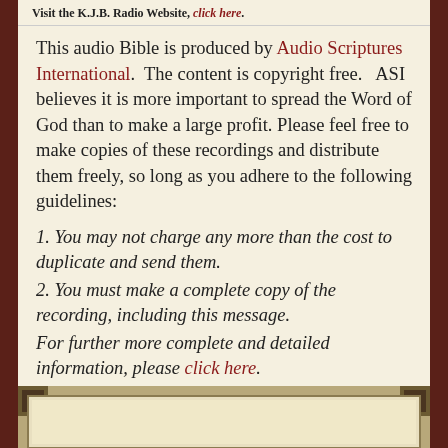Visit the K.J.B. Radio Website, click here.
This audio Bible is produced by Audio Scriptures International. The content is copyright free. ASI believes it is more important to spread the Word of God than to make a large profit. Please feel free to make copies of these recordings and distribute them freely, so long as you adhere to the following guidelines:
1. You may not charge any more than the cost to duplicate and send them.
2. You must make a complete copy of the recording, including this message.
For further more complete and detailed information, please click here.
[Figure (illustration): Decorative footer frame with corner ornaments in brown/gold tones]